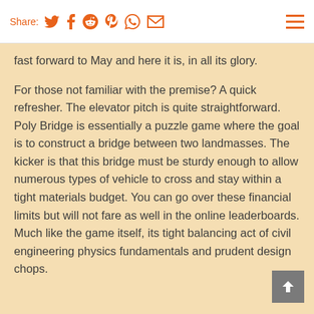Share: [twitter] [facebook] [reddit] [pinterest] [whatsapp] [email]
fast forward to May and here it is, in all its glory.
For those not familiar with the premise? A quick refresher. The elevator pitch is quite straightforward. Poly Bridge is essentially a puzzle game where the goal is to construct a bridge between two landmasses. The kicker is that this bridge must be sturdy enough to allow numerous types of vehicle to cross and stay within a tight materials budget. You can go over these financial limits but will not fare as well in the online leaderboards. Much like the game itself, its tight balancing act of civil engineering physics fundamentals and prudent design chops.